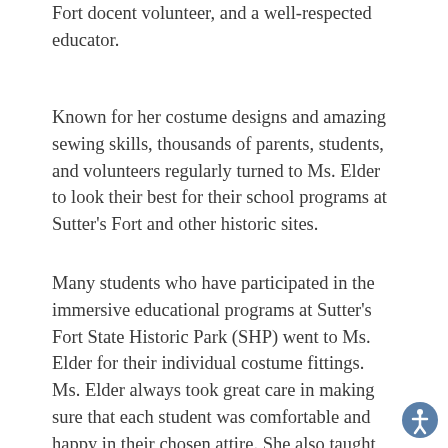Fort docent volunteer, and a well-respected educator.
Known for her costume designs and amazing sewing skills, thousands of parents, students, and volunteers regularly turned to Ms. Elder to look their best for their school programs at Sutter’s Fort and other historic sites.
Many students who have participated in the immersive educational programs at Sutter’s Fort State Historic Park (SHP) went to Ms. Elder for their individual costume fittings. Ms. Elder always took great care in making sure that each student was comfortable and happy in their chosen attire. She also taught students the purpose of different materials and explained why certain garments would have been worn in the 1800s.